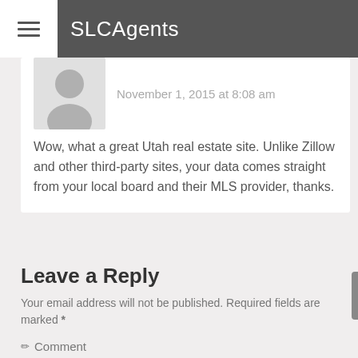SLCAgents
November 1, 2015 at 8:08 am
Wow, what a great Utah real estate site. Unlike Zillow and other third-party sites, your data comes straight from your local board and their MLS provider, thanks.
Leave a Reply
Your email address will not be published. Required fields are marked *
Comment